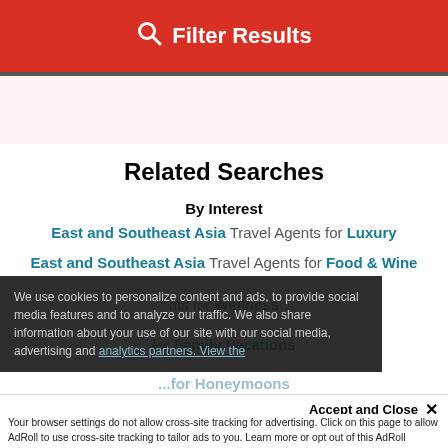Filter Results
[Figure (other): Advertisement placeholder banner, light pink background]
Related Searches
By Interest
East and Southeast Asia Travel Agents for Luxury
East and Southeast Asia Travel Agents for Food & Wine
... Travel Agents for Wellness
... Travel Agents for Family Vacations
We use cookies to personalize content and ads, to provide social media features and to analyze our traffic. We also share information about your use of our site with our social media, advertising and analytics partners. View the
Accept and Close ✕
Your browser settings do not allow cross-site tracking for advertising. Click on this page to allow AdRoll to use cross-site tracking to tailor ads to you. Learn more or opt out of this AdRoll tracking by clicking here. This message only appears once.
... Travel Agents for Honeymoons